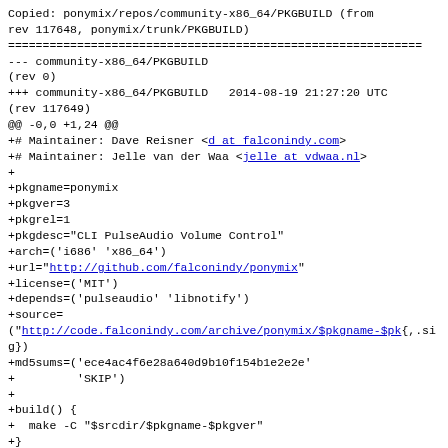Copied: ponymix/repos/community-x86_64/PKGBUILD (from rev 117648, ponymix/trunk/PKGBUILD)
============================================================
--- community-x86_64/PKGBUILD
(rev 0)
+++ community-x86_64/PKGBUILD   2014-08-19 21:27:20 UTC
(rev 117649)
@@ -0,0 +1,24 @@
+# Maintainer: Dave Reisner <d at falconindy.com>
+# Maintainer: Jelle van der Waa <jelle at vdwaa.nl>
+
+pkgname=ponymix
+pkgver=3
+pkgrel=1
+pkgdesc="CLI PulseAudio Volume Control"
+arch=('i686' 'x86_64')
+url="http://github.com/falconindy/ponymix"
+license=('MIT')
+depends=('pulseaudio' 'libnotify')
+source=
("http://code.falconindy.com/archive/ponymix/$pkgname-$pk{,.sig})
+md5sums=('ece4ac4f6e28a640d9b10f154b1e2e2e'
+         'SKIP')
+
+build() {
+  make -C "$srcdir/$pkgname-$pkgver"
+}
+
+package() {